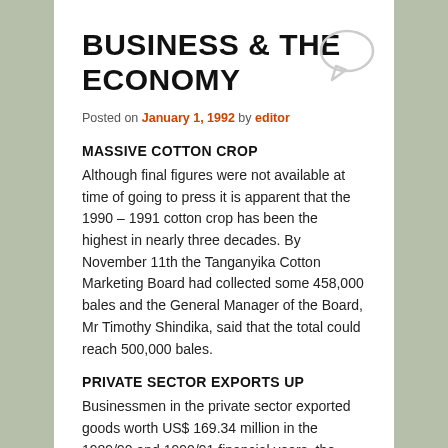BUSINESS & THE ECONOMY
Posted on January 1, 1992 by editor
MASSIVE COTTON CROP
Although final figures were not available at time of going to press it is apparent that the 1990 – 1991 cotton crop has been the highest in nearly three decades. By November 11th the Tanganyika Cotton Marketing Board had collected some 458,000 bales and the General Manager of the Board, Mr Timothy Shindika, said that the total could reach 500,000 bales.
PRIVATE SECTOR EXPORTS UP
Businessmen in the private sector exported goods worth US$ 169.34 million in the 1989/90 and 1990/91 financial years, the Minister of State in the President's office , Prof Kighoma Malima, has announced. This was, he said, 19% above the target.